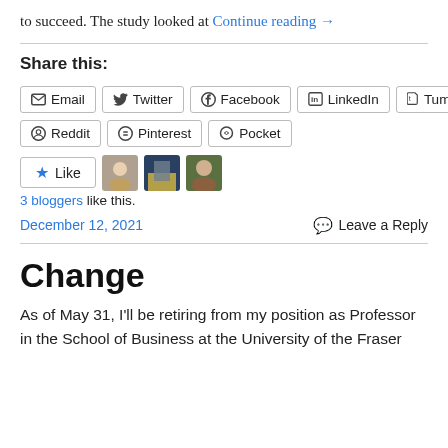to succeed. The study looked at Continue reading →
Share this:
Email Twitter Facebook LinkedIn Tumblr Reddit Pinterest Pocket
3 bloggers like this.
December 12, 2021   Leave a Reply
Change
As of May 31, I'll be retiring from my position as Professor in the School of Business at the University of the Fraser